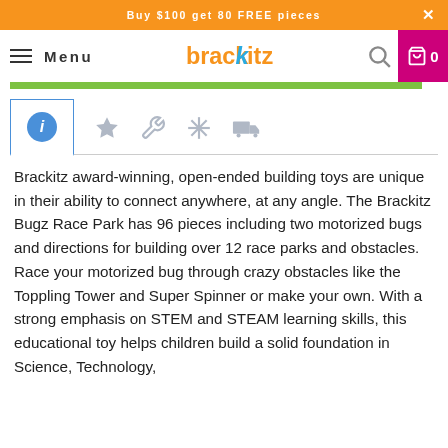Buy $100 get 80 FREE pieces
[Figure (screenshot): Brackitz website navigation bar with hamburger menu, Menu text, Brackitz logo, search icon, and shopping cart showing 0 items on magenta background]
[Figure (screenshot): Tab row with active info tab (blue circle i icon) and four inactive tabs showing star, wrench, snowflake/asterisk, and truck icons in grey]
Brackitz award-winning, open-ended building toys are unique in their ability to connect anywhere, at any angle. The Brackitz Bugz Race Park has 96 pieces including two motorized bugs and directions for building over 12 race parks and obstacles. Race your motorized bug through crazy obstacles like the Toppling Tower and Super Spinner or make your own. With a strong emphasis on STEM and STEAM learning skills, this educational toy helps children build a solid foundation in Science, Technology,